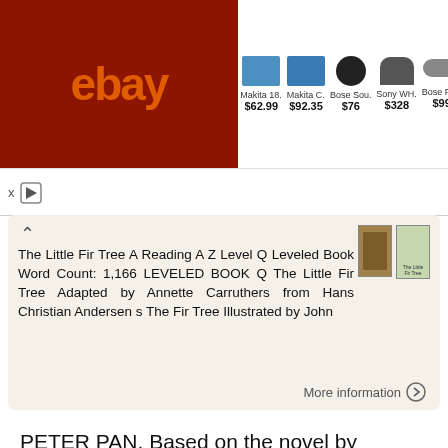[Figure (screenshot): eBay advertisement banner showing Makita 18... $62.99, Makita C... $92.35, Bose Sou... $76, Sony WH... $328, Bose Fra... $99, Acer Nitr... $679.99]
The Little Fir Tree A Reading A Z Level Q Leveled Book Word Count: 1,166 LEVELED BOOK Q The Little Fir Tree Adapted by Annette Carruthers from Hans Christian Andersen s The Fir Tree Illustrated by John
More information
PETER PAN. Based on the novel by J.M.Barrie. One night, she was woken by Nana s wild barking. A boy was in the
PETER PAN Based on the novel by J.M.Barrie 1 Mr and Mrs Darling lived in a grand house in London. They had three children, Wendy, John, and Michael. The